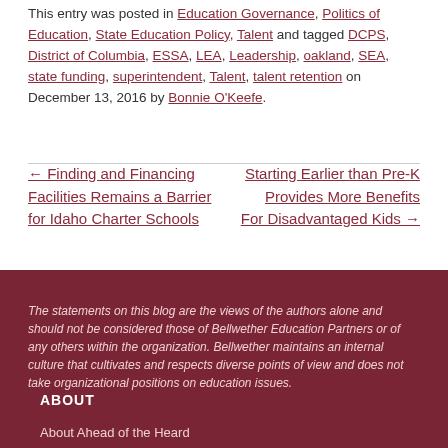This entry was posted in Education Governance, Politics of Education, State Education Policy, Talent and tagged DCPS, District of Columbia, ESSA, LEA, Leadership, oakland, SEA, state funding, superintendent, Talent, talent retention on December 13, 2016 by Bonnie O'Keefe.
← Finding and Financing Facilities Remains a Barrier for Idaho Charter Schools
Starting Earlier than Pre-K Provides More Benefits For Disadvantaged Kids →
The statements on this blog are the views of the authors alone and should not be considered those of Bellwether Education Partners or of any others within the organization. Bellwether maintains an internal culture that cultivates and respects diverse points of view and does not take organizational positions on education issues.
ABOUT
About Ahead of the Heard